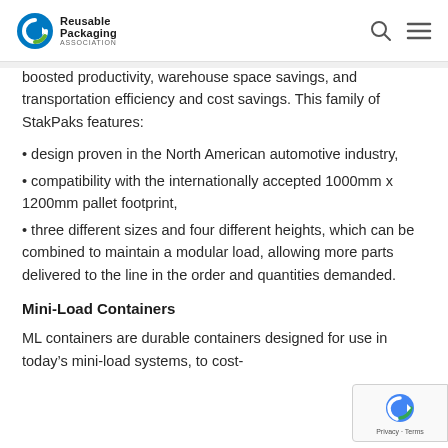Reusable Packaging Association
boosted productivity, warehouse space savings, and transportation efficiency and cost savings. This family of StakPaks features:
design proven in the North American automotive industry,
compatibility with the internationally accepted 1000mm x 1200mm pallet footprint,
three different sizes and four different heights, which can be combined to maintain a modular load, allowing more parts delivered to the line in the order and quantities demanded.
Mini-Load Containers
ML containers are durable containers designed for use in today’s mini-load systems, to cost-